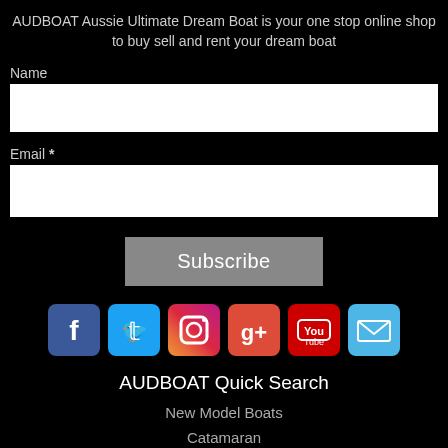AUDBOAT Aussie Ultimate Dream Boat is your one stop online shop to buy sell and rent your dream boat
Name
Email *
Subscribe
[Figure (infographic): Social media icons row: Facebook, Twitter, Instagram, Google+, YouTube, Email]
AUDBOAT Quick Search
New Model Boats
Catamaran